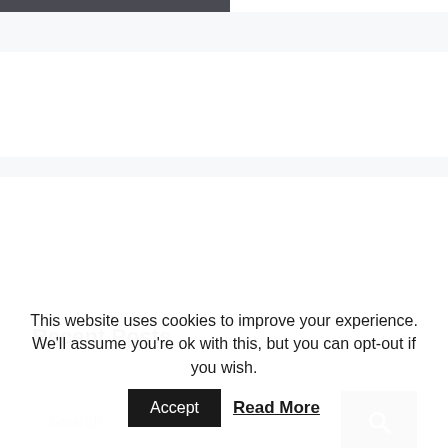[Figure (screenshot): Top navigation bar area with dark banner partially visible]
Search ...
Recent Posts
This website uses cookies to improve your experience. We'll assume you're ok with this, but you can opt-out if you wish.
Accept  Read More